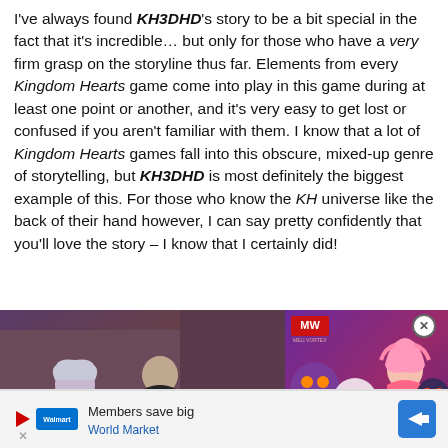I've always found KH3DHD's story to be a bit special in the fact that it's incredible… but only for those who have a very firm grasp on the storyline thus far. Elements from every Kingdom Hearts game come into play in this game during at least one point or another, and it's very easy to get lost or confused if you aren't familiar with them. I know that a lot of Kingdom Hearts games fall into this obscure, mixed-up genre of storytelling, but KH3DHD is most definitely the biggest example of this. For those who know the KH universe like the back of their hand however, I can say pretty confidently that you'll love the story – I know that I certainly did!
[Figure (screenshot): Left: Kingdom Hearts game screenshot showing character silhouettes in a purple/brown environment. Right: Advertisement for 'Zenless Zone Zero – Everything We Know' with MW logo, play button, and anime characters.]
[Figure (other): Bottom advertisement banner: Members save big – World Market, with a blue navigation arrow icon.]